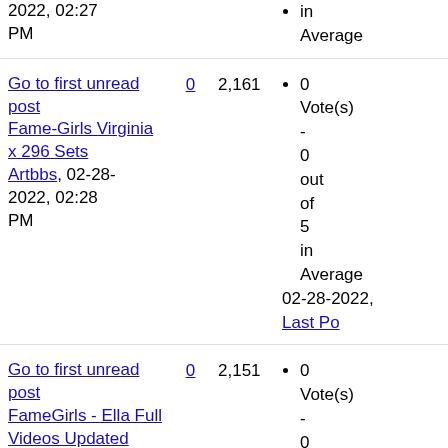2022, 02:27 PM
0 Vote(s) - 0 out of 5 in Average
Go to first unread post Fame-Girls Virginia x 296 Sets Artbbs, 02-28-2022, 02:28 PM
0
2,161
0 Vote(s) - 0 out of 5 in Average  02-28-2022, Last Po
Go to first unread post FameGirls - Ella Full Videos Updated Artbbs, 02-28-2022, 02:29 PM
0
2,151
0 Vote(s) - 0 out of 5 in Average  02-28-2022, Last Po